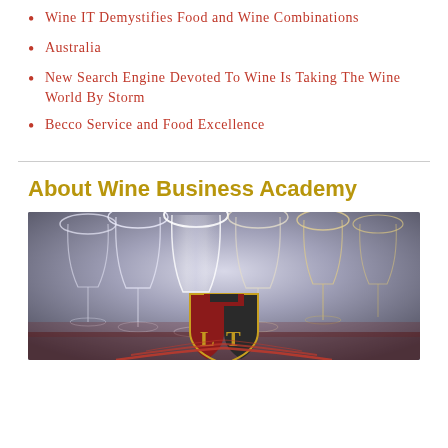Wine IT Demystifies Food and Wine Combinations
Australia
New Search Engine Devoted To Wine Is Taking The Wine World By Storm
Becco Service and Food Excellence
About Wine Business Academy
[Figure (photo): Wine glasses arranged in a row on a table with a shield logo featuring 'L' and 'T' letters overlaid at the bottom center, with red decorative lines beneath it.]